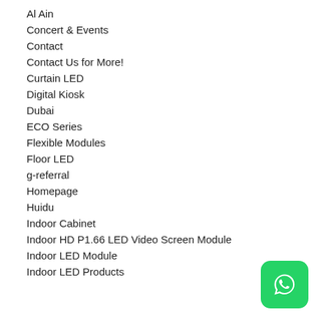Al Ain
Concert & Events
Contact
Contact Us for More!
Curtain LED
Digital Kiosk
Dubai
ECO Series
Flexible Modules
Floor LED
g-referral
Homepage
Huidu
Indoor Cabinet
Indoor HD P1.66 LED Video Screen Module
Indoor LED Module
Indoor LED Products
[Figure (logo): WhatsApp button icon, green rounded square with white phone handset logo]